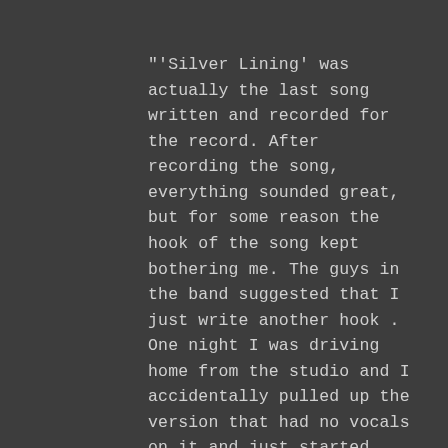"'Silver Lining' was actually the last song written and recorded for the record. After recording the song, everything sounded great, but for some reason the hook of the song kept bothering me. The guys in the band suggested that I just write another hook . One night I was driving home from the studio and I accidentally pulled up the version that had no vocals on it and just started singing something completely different. I finished the new lyrics that night. The next day I went and recorded the new vocal about turning a negative into a positive," says vocalist Todd Poole of how 'Silver Lining' came together.